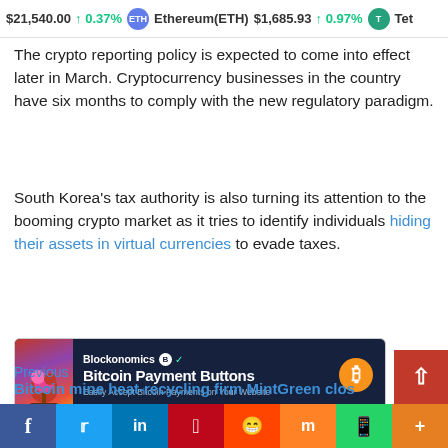$21,540.00 ↑0.37% Ethereum(ETH) $1,685.93 ↑0.97% Tet
The crypto reporting policy is expected to come into effect later in March. Cryptocurrency businesses in the country have six months to comply with the new regulatory paradigm.
South Korea's tax authority is also turning its attention to the booming crypto market as it tries to identify individuals hiding their assets in virtual currencies to evade taxes.
[Figure (other): Blockonomics advertisement banner: Bitcoin Payment Buttons - Easily Accept Bitcoin Payments on Your Website]
Previous
Bitcoin mine heat-recycling firm MintGreen clos
f  Twitter  in  Pinterest  Reddit  Mix  WhatsApp  +